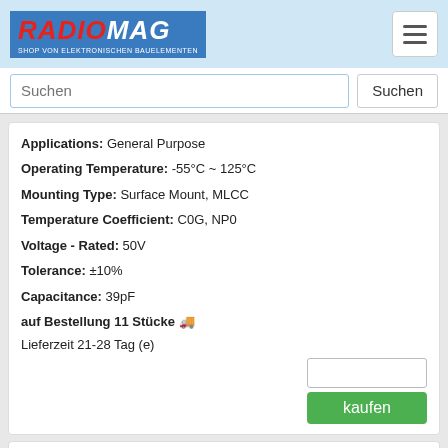RADIOMAG - SHOP VON ELEKTRONISCHEN BAUELEMENTEN
Suchen
Applications: General Purpose
Operating Temperature: -55°C ~ 125°C
Mounting Type: Surface Mount, MLCC
Temperature Coefficient: C0G, NP0
Voltage - Rated: 50V
Tolerance: ±10%
Capacitance: 39pF
auf Bestellung 11 Stücke 🚚
Lieferzeit 21-28 Tag (e)
kaufen
06035A3R0CAT4A
[Figure (photo): Ceramic MLCC SMD capacitor component, rectangular chip shape, silver-grey metallic ends, photographed on white background.]